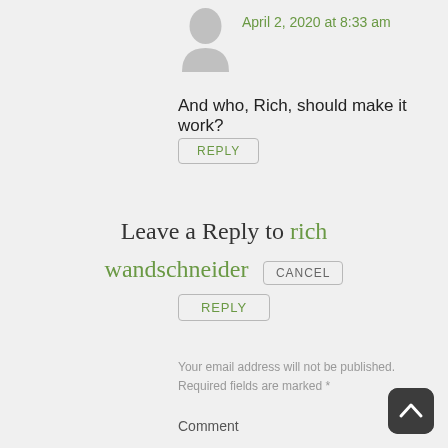[Figure (illustration): Grey silhouette avatar icon of a person]
April 2, 2020 at 8:33 am
And who, Rich, should make it work?
REPLY
Leave a Reply to rich wandschneider
CANCEL
REPLY
Your email address will not be published. Required fields are marked *
Comment